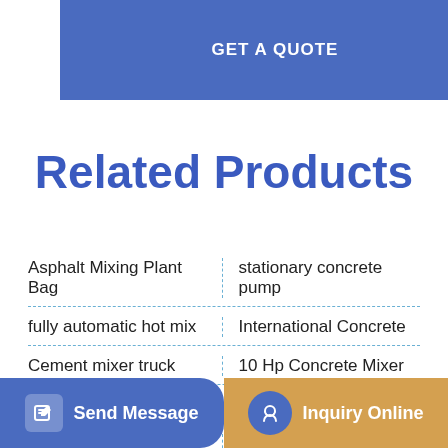[Figure (other): Blue 'GET A QUOTE' button banner at the top of the page]
Related Products
Asphalt Mixing Plant Bag
stationary concrete pump
fully automatic hot mix
International Concrete
Cement mixer truck
10 Hp Concrete Mixer
MACK RD688S Mixer
Concrete Pumping
trailer concrete pump
cifa batch plant
[Figure (other): Blue 'Send Message' button with edit icon on the bottom left]
[Figure (other): Gold/orange 'Inquiry Online' button with headset icon on the bottom right]